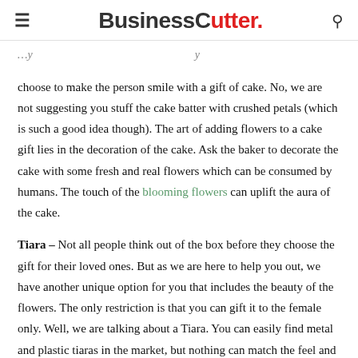BusinessCutter.
choose to make the person smile with a gift of cake. No, we are not suggesting you stuff the cake batter with crushed petals (which is such a good idea though). The art of adding flowers to a cake gift lies in the decoration of the cake. Ask the baker to decorate the cake with some fresh and real flowers which can be consumed by humans. The touch of the blooming flowers can uplift the aura of the cake.
Tiara – Not all people think out of the box before they choose the gift for their loved ones. But as we are here to help you out, we have another unique option for you that includes the beauty of the flowers. The only restriction is that you can gift it to the female only. Well, we are talking about a Tiara. You can easily find metal and plastic tiaras in the market, but nothing can match the feel and aura of a tiara made using real flowers. For males, you can get a king crown made using flowers by an